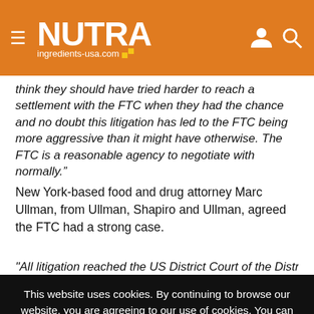NUTRA ingredients-usa.com
think they should have tried harder to reach a settlement with the FTC when they had the chance and no doubt this litigation has led to the FTC being more aggressive than it might have otherwise. The FTC is a reasonable agency to negotiate with normally."
New York-based food and drug attorney Marc Ullman, from Ullman, Shapiro and Ullman, agreed the FTC had a strong case.
"All litigation reached the US District Court of the District of
This website uses cookies. By continuing to browse our website, you are agreeing to our use of cookies. You can learn more about cookies by visiting our privacy & cookies policy page.